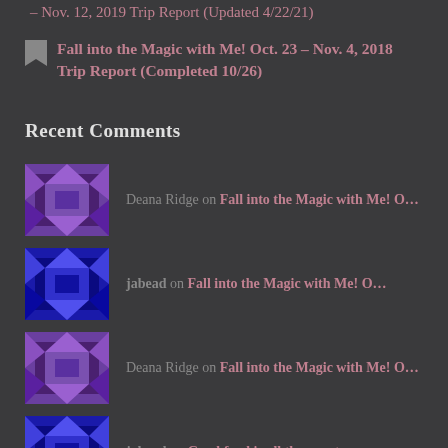– Nov. 12, 2019 Trip Report (Updated 4/22/21)
Fall into the Magic with Me! Oct. 23 – Nov. 4, 2018 Trip Report (Completed 10/26)
Recent Comments
Deana Ridge on Fall into the Magic with Me! O…
jabead on Fall into the Magic with Me! O…
Deana Ridge on Fall into the Magic with Me! O…
jabead on Good food is all the sweeter w…
Shannon Wells on Good food is all the sweeter w…